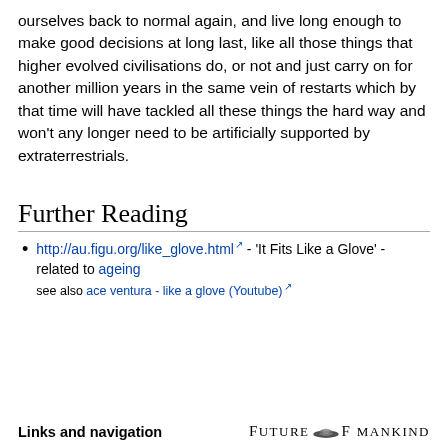ourselves back to normal again, and live long enough to make good decisions at long last, like all those things that higher evolved civilisations do, or not and just carry on for another million years in the same vein of restarts which by that time will have tackled all these things the hard way and won't any longer need to be artificially supported by extraterrestrials.
Further Reading
http://au.figu.org/like_glove.html - 'It Fits Like a Glove' - related to ageing
see also ace ventura - like a glove (Youtube)
Links and navigation   FUTURE OF MANKIND